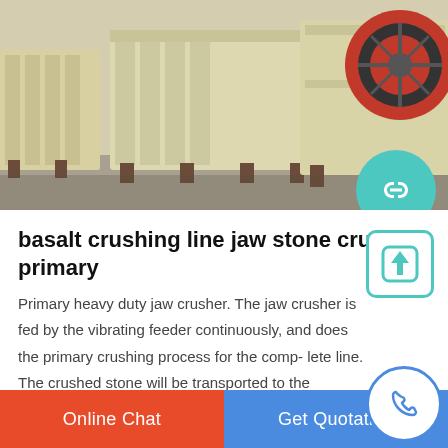[Figure (photo): Industrial jaw stone crusher machines with yellow/cream colored bodies, red flywheel visible, sitting on concrete floor in a warehouse or factory setting. Multiple units shown from a side-front angle.]
basalt crushing line jaw stone crusher primary
Primary heavy duty jaw crusher. The jaw crusher is fed by the vibrating feeder continuously, and does the primary crushing process for the comp- lete line. The crushed stone will be transported to the vibrating screen to separate or to the stockpile before secondary crusher.
Online Chat | Get Quotation